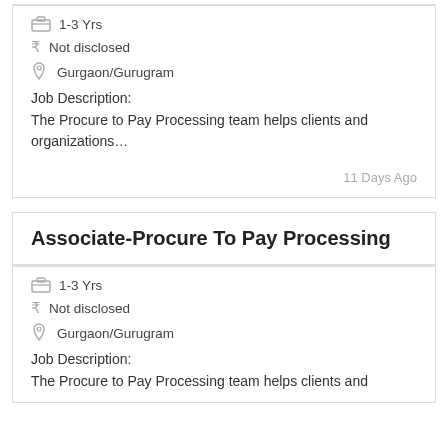1-3 Yrs
₹ Not disclosed
Gurgaon/Gurugram
Job Description:
The Procure to Pay Processing team helps clients and organizations…
11 Days Ago
Associate-Procure To Pay Processing
1-3 Yrs
₹ Not disclosed
Gurgaon/Gurugram
Job Description:
The Procure to Pay Processing team helps clients and